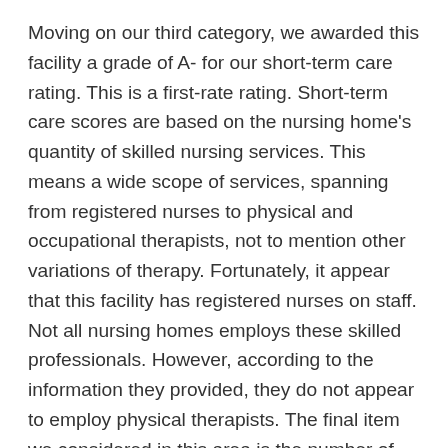Moving on our third category, we awarded this facility a grade of A- for our short-term care rating. This is a first-rate rating. Short-term care scores are based on the nursing home's quantity of skilled nursing services. This means a wide scope of services, spanning from registered nurses to physical and occupational therapists, not to mention other variations of therapy. Fortunately, it appear that this facility has registered nurses on staff. Not all nursing homes employs these skilled professionals. However, according to the information they provided, they do not appear to employ physical therapists. The final item we considered in this area is the number of patients who were able to leave the nursing home and return to the community. We found that 5.7 percent of this nursing home's patients returned home.